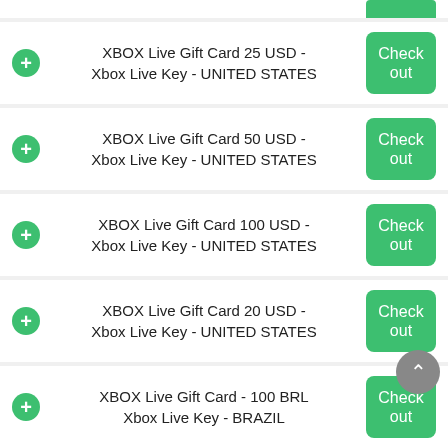XBOX Live Gift Card 25 USD - Xbox Live Key - UNITED STATES
XBOX Live Gift Card 50 USD - Xbox Live Key - UNITED STATES
XBOX Live Gift Card 100 USD - Xbox Live Key - UNITED STATES
XBOX Live Gift Card 20 USD - Xbox Live Key - UNITED STATES
XBOX Live Gift Card - 100 BRL Xbox Live Key - BRAZIL
Apple iTunes